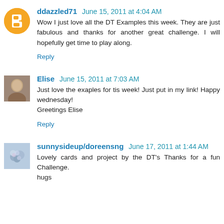[Figure (illustration): Blogger orange circle avatar icon for user ddazzled71]
ddazzled71 June 15, 2011 at 4:04 AM
Wow I just love all the DT Examples this week. They are just fabulous and thanks for another great challenge. I will hopefully get time to play along.
Reply
[Figure (photo): Small profile photo of Elise]
Elise June 15, 2011 at 7:03 AM
Just love the exaples for tis week! Just put in my link! Happy wednesday!
Greetings Elise
Reply
[Figure (photo): Small profile photo of sunnysideup/doreensng showing flowers]
sunnysideup/doreensng June 17, 2011 at 1:44 AM
Lovely cards and project by the DT's Thanks for a fun Challenge.
hugs